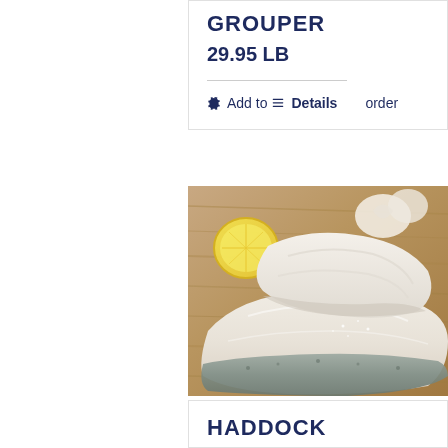GROUPER
29.95 LB
Add to order  Details
[Figure (photo): Close-up photo of fresh fish fillets (grouper/haddock) with skin-on, placed on a wooden cutting board with a lemon slice in the background]
HADDOCK